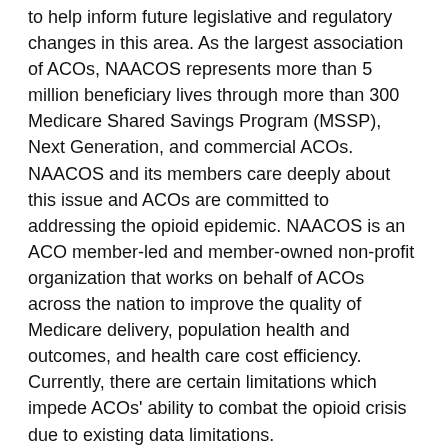to help inform future legislative and regulatory changes in this area. As the largest association of ACOs, NAACOS represents more than 5 million beneficiary lives through more than 300 Medicare Shared Savings Program (MSSP), Next Generation, and commercial ACOs. NAACOS and its members care deeply about this issue and ACOs are committed to addressing the opioid epidemic. NAACOS is an ACO member-led and member-owned non-profit organization that works on behalf of ACOs across the nation to improve the quality of Medicare delivery, population health and outcomes, and health care cost efficiency. Currently, there are certain limitations which impede ACOs' ability to combat the opioid crisis due to existing data limitations.
The federal regulations governing the confidentiality of drug and alcohol treatment and prevention records, Part 2, set requirements limiting the use and disclosure of patients' substance use records from certain substance use treatment programs. Obtaining multiple consents from the patient is challenging and creates barriers to whole-person, integrated approaches to care, which are critical to an ACO's work. For